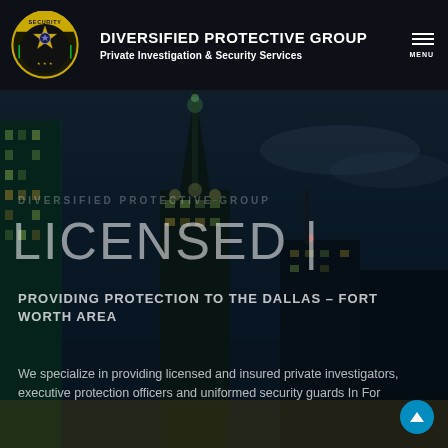[Figure (logo): Circular security badge/shield logo with star and 'SECURITY' text in yellow and black]
DIVERSIFIED PROTECTIVE GROUP
Private Investigation & Security Services
[Figure (photo): Nighttime cityscape of Dallas-Fort Worth skyline with illuminated skyscrapers against a dark blue sky]
DIVERSIFIED PROTECTIVE GROUP
LICENSED |
PROVIDING PROTECTION TO THE DALLAS - FORT WORTH AREA
We specialize in providing licensed and insured private investigators, executive protection officers and uniformed security guards In For